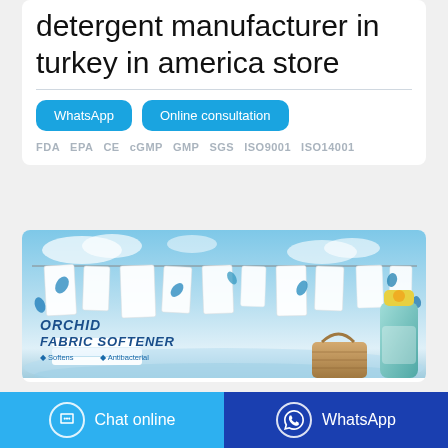detergent manufacturer in turkey in america store
WhatsApp
Online consultation
FDA  EPA  CE  cGMP  GMP  SGS  ISO9001  ISO14001
[Figure (photo): Advertisement image for Orchid Fabric Softener showing white laundry hanging on a clothesline against a blue sky background, with a teal bottle of the product and a basket of towels. Text reads: ORCHID FABRIC SOFTENER, Softens, Antibacterial.]
Chat online
WhatsApp